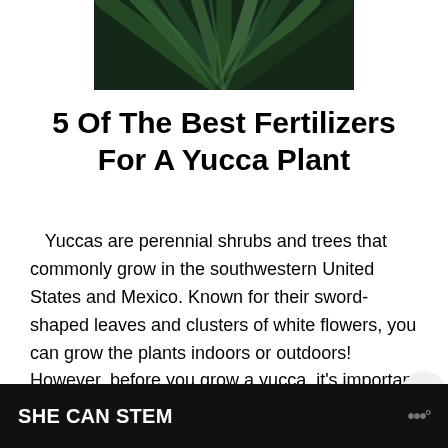[Figure (photo): Close-up photo of dark green yucca or similar plant leaves with sharp, sword-like blades]
5 Of The Best Fertilizers For A Yucca Plant
Yuccas are perennial shrubs and trees that commonly grow in the southwestern United States and Mexico. Known for their sword-shaped leaves and clusters of white flowers, you can grow the plants indoors or outdoors! However, before you grow a yucca, it's important to know w… fertilizer to use. We've researched this topic
SHE CAN STEM